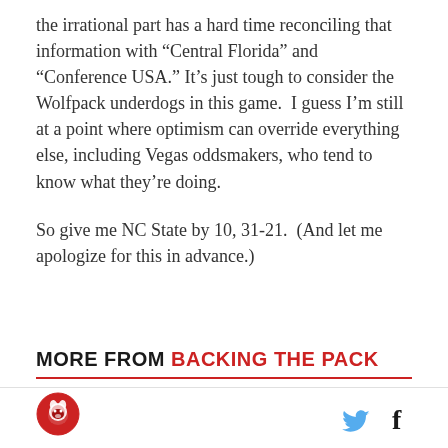the irrational part has a hard time reconciling that information with "Central Florida" and "Conference USA." It's just tough to consider the Wolfpack underdogs in this game.  I guess I'm still at a point where optimism can override everything else, including Vegas oddsmakers, who tend to know what they're doing.
So give me NC State by 10, 31-21.  (And let me apologize for this in advance.)
MORE FROM BACKING THE PACK
[Figure (logo): Circular red and white logo with a wolf head or similar mascot icon]